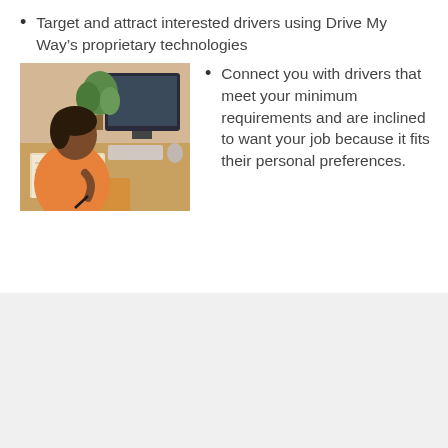Target and attract interested drivers using Drive My Way’s proprietary technologies
Connect you with drivers that meet your minimum requirements and are inclined to want your job because it fits their personal preferences.
[Figure (photo): A woman sitting at a desk, writing in a notebook in front of a computer monitor]